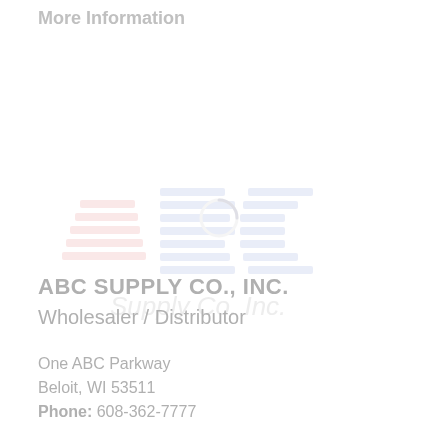More Information
[Figure (logo): ABC Supply Co., Inc. logo with red and blue stylized lettering, faded/watermark style, with a loading spinner overlay]
ABC SUPPLY CO., INC.
Wholesaler / Distributor
One ABC Parkway
Beloit, WI 53511
Phone: 608-362-7777